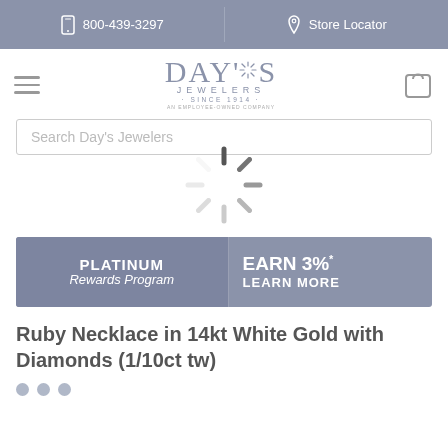800-439-3297  |  Store Locator
[Figure (logo): Day's Jewelers logo — Since 1914, An Employee-Owned Company]
Search Day's Jewelers
[Figure (other): Loading spinner graphic]
[Figure (infographic): Platinum Rewards Program banner — EARN 3%* LEARN MORE]
Ruby Necklace in 14kt White Gold with Diamonds (1/10ct tw)